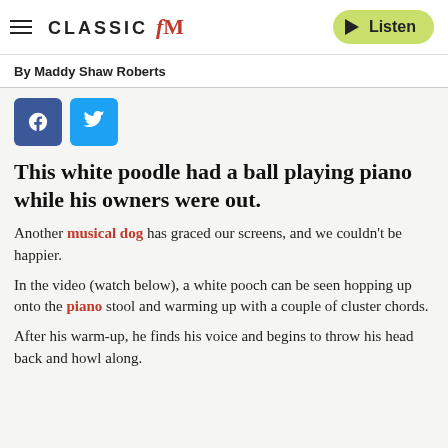CLASSIC fM | Listen
By Maddy Shaw Roberts
[Figure (other): Facebook and Twitter social share buttons]
This white poodle had a ball playing piano while his owners were out.
Another musical dog has graced our screens, and we couldn't be happier.
In the video (watch below), a white pooch can be seen hopping up onto the piano stool and warming up with a couple of cluster chords.
After his warm-up, he finds his voice and begins to throw his head back and howl along.